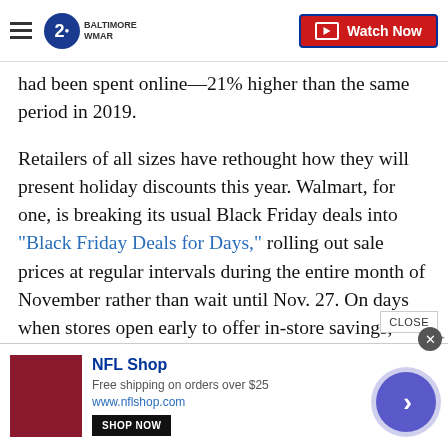2 Baltimore WMAR — Watch Now
had been spent online—21% higher than the same period in 2019.
Retailers of all sizes have rethought how they will present holiday discounts this year. Walmart, for one, is breaking its usual Black Friday deals into "Black Friday Deals for Days," rolling out sale prices at regular intervals during the entire month of November rather than wait until Nov. 27. On days when stores open early to offer in-store savings, customers will need to wait in a socially-distanced line and employees will limit the number of people who can enter.
[Figure (screenshot): Advertisement banner for NFL Shop: Free shipping on orders over $25, www.nflshop.com, Shop Now button, with maroon jersey image and circular navigation button]